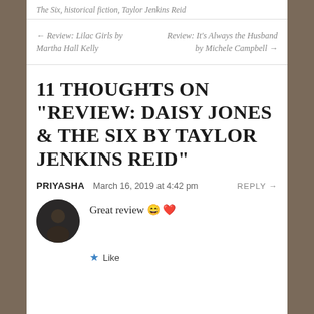The Six, historical fiction, Taylor Jenkins Reid
← Review: Lilac Girls by Martha Hall Kelly
Review: It's Always the Husband by Michele Campbell →
11 THOUGHTS ON "REVIEW: DAISY JONES & THE SIX BY TAYLOR JENKINS REID"
PRIYASHA   March 16, 2019 at 4:42 pm   REPLY →
Great review 😄 ❤
★ Like